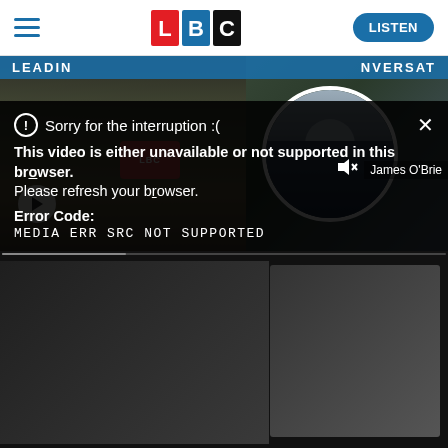[Figure (screenshot): LBC website header with hamburger menu, LBC logo, and LISTEN button]
[Figure (photo): LBC website thumbnail showing a radio host at a microphone with LBC branding and a circular portrait of an older man on the phone, with a play button overlay]
Sorry for the interruption :(
This video is either unavailable or not supported in this browser. Please refresh your browser.
Error Code: MEDIA ERR SRC NOT SUPPORTED
James O'Brie